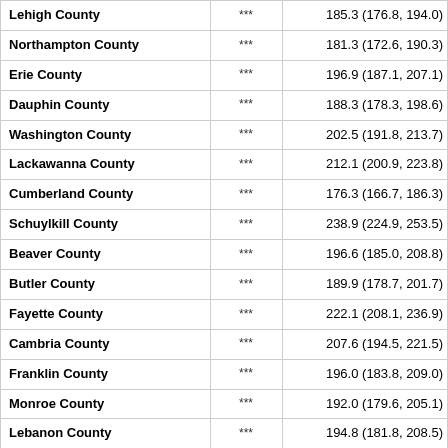| Lehigh County | *** | 185.3 (176.8, 194.0) |
| Northampton County | *** | 181.3 (172.6, 190.3) |
| Erie County | *** | 196.9 (187.1, 207.1) |
| Dauphin County | *** | 188.3 (178.3, 198.6) |
| Washington County | *** | 202.5 (191.8, 213.7) |
| Lackawanna County | *** | 212.1 (200.9, 223.8) |
| Cumberland County | *** | 176.3 (166.7, 186.3) |
| Schuylkill County | *** | 238.9 (224.9, 253.5) |
| Beaver County | *** | 196.6 (185.0, 208.8) |
| Butler County | *** | 189.9 (178.7, 201.7) |
| Fayette County | *** | 222.1 (208.1, 236.9) |
| Cambria County | *** | 207.6 (194.5, 221.5) |
| Franklin County | *** | 196.0 (183.8, 209.0) |
| Monroe County | *** | 192.0 (179.6, 205.1) |
| Lebanon County | *** | 194.8 (181.8, 208.5) |
| Blair County | *** | 213.7 (199.4, 228.9) |